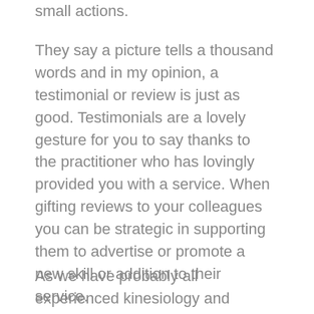small actions.
They say a picture tells a thousand words and in my opinion, a testimonial or review is just as good. Testimonials are a lovely gesture for you to say thanks to the practitioner who has lovingly provided you with a service. When gifting reviews to your colleagues you can be strategic in supporting them to advertise or promote a new skill or addition to their service.
As we have probably all experienced kinesiology and coaching as modalities can be tricky/challenging to market and